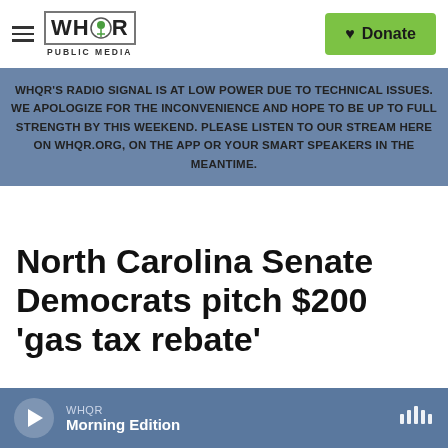WHQR PUBLIC MEDIA — Donate
WHQR'S RADIO SIGNAL IS AT LOW POWER DUE TO TECHNICAL ISSUES. WE APOLOGIZE FOR THE INCONVENIENCE AND HOPE TO BE UP TO FULL STRENGTH BY THIS WEEKEND. PLEASE LISTEN TO OUR STREAM HERE ON WHQR.ORG, ON THE APP OR YOUR SMART SPEAKERS IN THE MEANTIME.
North Carolina Senate Democrats pitch $200 'gas tax rebate'
WHQR Morning Edition